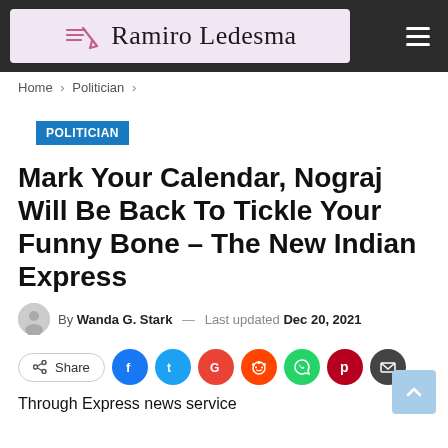Ramiro Ledesma
Home > Politician >
POLITICIAN
Mark Your Calendar, Nograj Will Be Back To Tickle Your Funny Bone – The New Indian Express
By Wanda G. Stark — Last updated Dec 20, 2021
Share
Through Express news service